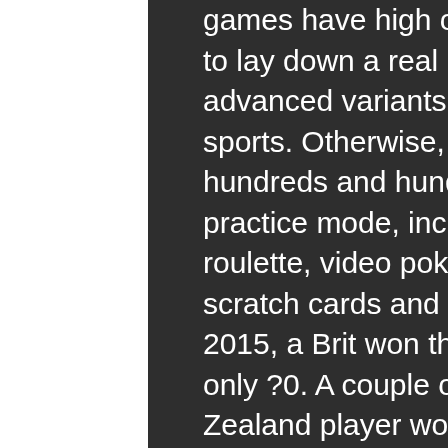games have high operational costs, so you will need to lay down a real money bet in order to access these advanced variants, making a living gambling on sports. Otherwise, online players can access hundreds and hundreds of online casino games in practice mode, including slots, blackjack, baccarat, roulette, video poker, craps, keno, bingo, poker, scratch cards and a range of niche casino games. In 2015, a Brit won the jackpot at Betway casino play only ?0. A couple of months later in 2015, a New Zealand player won the jackpot which was placed at NZ$10, 144, 395, 21 black jack subtitulada online. Bonus money example: Deposit 50 and get ?50 bonus money., information sur la planche a roulette. Latest Online Casino NO DEPOSIT Bonus Codes 2021. How much does online live casino pay? There is no set limit to how much can be won at live casinos in India or other parts of the world. malattia da gioco